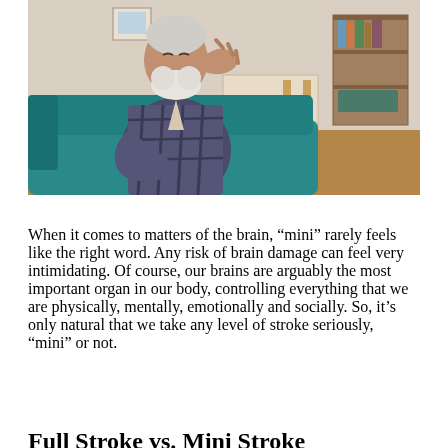[Figure (photo): Elderly man with white beard sitting on a teal sofa, holding his hand to his forehead in a distressed pose, in a home living room setting.]
When it comes to matters of the brain, “mini” rarely feels like the right word. Any risk of brain damage can feel very intimidating. Of course, our brains are arguably the most important organ in our body, controlling everything that we are physically, mentally, emotionally and socially. So, it’s only natural that we take any level of stroke seriously, “mini” or not.
Full Stroke vs. Mini Stroke